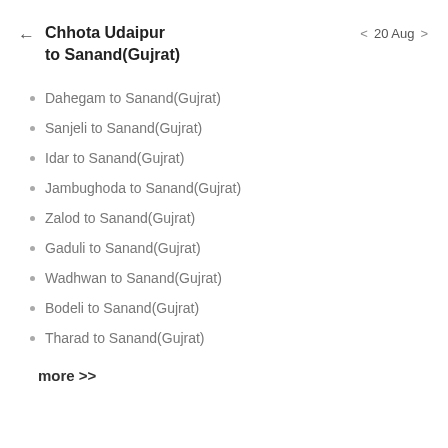Chhota Udaipur to Sanand(Gujrat)
20 Aug
Dahegam to Sanand(Gujrat)
Sanjeli to Sanand(Gujrat)
Idar to Sanand(Gujrat)
Jambughoda to Sanand(Gujrat)
Zalod to Sanand(Gujrat)
Gaduli to Sanand(Gujrat)
Wadhwan to Sanand(Gujrat)
Bodeli to Sanand(Gujrat)
Tharad to Sanand(Gujrat)
more >>